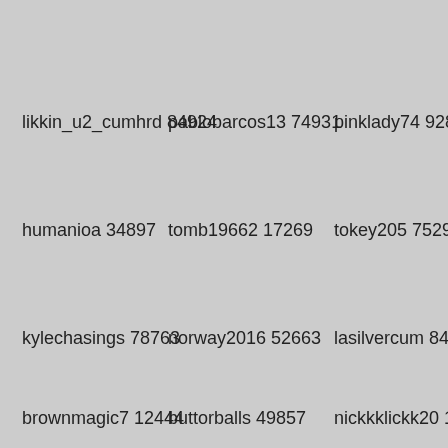likkin_u2_cumhrd 84924
pablobarcos13 74931
pinklady74 92839
humanioa 34897
tomb19662 17269
tokey205 75297
kylechasings 78763
norway2016 52663
lasilvercum 84828
brownmagic7 12444
buttorballs 49857
nickkklickk20 18116